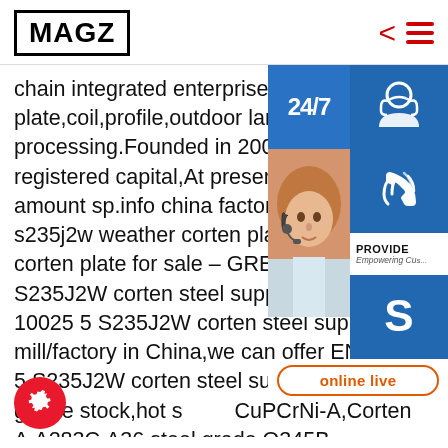MAGZ
chain integrated enterprise including steel plate,coil,profile,outdoor landscape d... processing.Founded in 2008,with 5 m... registered capital,At present,the tota... amount sp.info china factory welded s235j2w weather corten plateen 1002... corten plate for sale – GREET STEEL. S235J2W corten steel supplier mild st... EN 10025 5 S235J2W corten steel supplier mill/factory in China,we can offer EN 10025 5 S235J2W corten steel supplier steel geade stock,hot s...CuPCrNi-A,Corten A,A283C,A36 steel grade,Q345B grade,S355JR stock,S355J2 steel
[Figure (screenshot): Right-side floating widget panel with 24/7 badge, customer service icons (headset, phone, Skype S logo), a photo of a woman with headset, PROVIDE Empowering Customers text, and online live button]